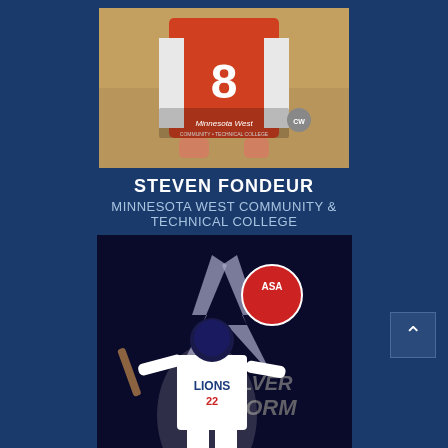[Figure (photo): Baseball player wearing jersey number 8, back facing camera, with Minnesota West Community & Technical College branding visible]
STEVEN FONDEUR
MINNESOTA WEST COMMUNITY & TECHNICAL COLLEGE
[Figure (photo): Baseball player in Lions uniform number 22 in batting stance, with Silver Storm ASA logo in background, text DYLAN TAKO at bottom]
DYLAN TAKO
ASA MIAMI